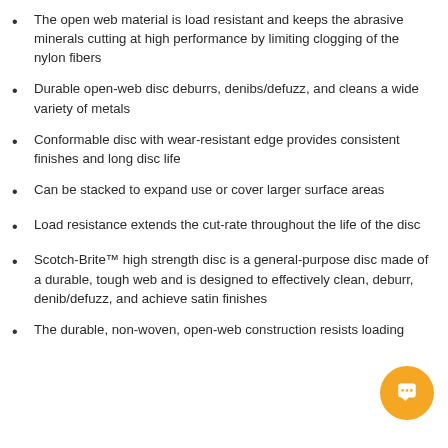The open web material is load resistant and keeps the abrasive minerals cutting at high performance by limiting clogging of the nylon fibers
Durable open-web disc deburrs, denibs/defuzz, and cleans a wide variety of metals
Conformable disc with wear-resistant edge provides consistent finishes and long disc life
Can be stacked to expand use or cover larger surface areas
Load resistance extends the cut-rate throughout the life of the disc
Scotch-Brite™ high strength disc is a general-purpose disc made of a durable, tough web and is designed to effectively clean, deburr, denib/defuzz, and achieve satin finishes
The durable, non-woven, open-web construction resists loading